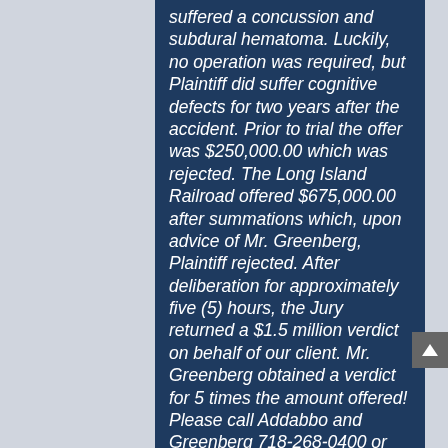suffered a concussion and subdural hematoma. Luckily, no operation was required, but Plaintiff did suffer cognitive defects for two years after the accident. Prior to trial the offer was $250,000.00 which was rejected. The Long Island Railroad offered $675,000.00 after summations which, upon advice of Mr. Greenberg, Plaintiff rejected. After deliberation for approximately five (5) hours, the Jury returned a $1.5 million verdict on behalf of our client. Mr. Greenberg obtained a verdict for 5 times the amount offered! Please call Addabbo and Greenberg 718-268-0400 or visit our